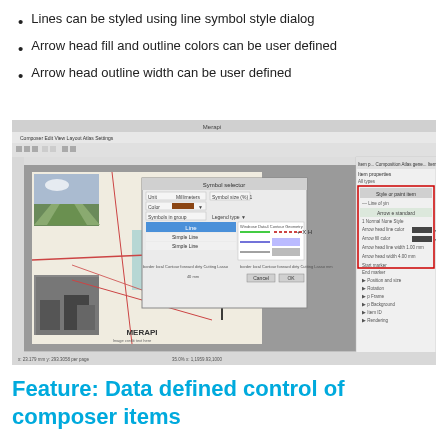Lines can be styled using line symbol style dialog
Arrow head fill and outline colors can be user defined
Arrow head outline width can be user defined
[Figure (screenshot): Screenshot of QGIS map composer application showing a map of Merapi volcano with a line/arrow drawn on it, a symbol style dialog open in the center, and item properties panel on the right with arrow head properties highlighted in a red box.]
Feature: Data defined control of composer items